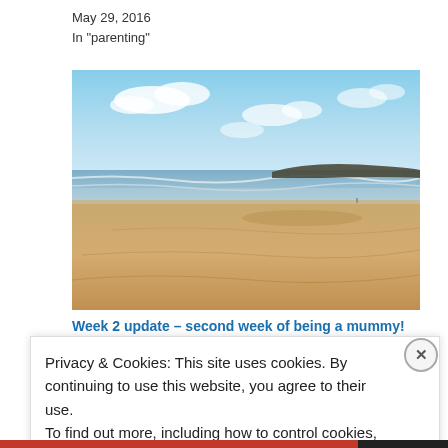May 29, 2016
In "parenting"
[Figure (photo): Wide sandy beach scene with calm sea, distant headland, and blue sky with clouds]
Week 2 update – second week of being a mummy!
Privacy & Cookies: This site uses cookies. By continuing to use this website, you agree to their use.
To find out more, including how to control cookies, see here:
Cookie Policy
Close and accept